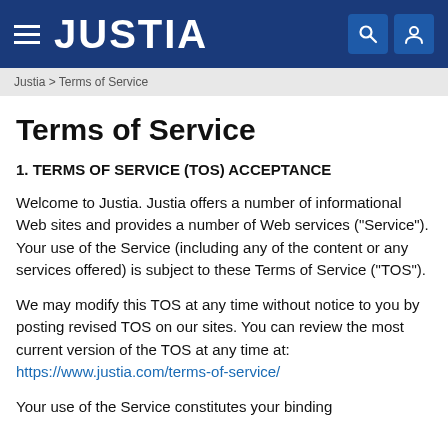JUSTIA
Justia > Terms of Service
Terms of Service
1. TERMS OF SERVICE (TOS) ACCEPTANCE
Welcome to Justia. Justia offers a number of informational Web sites and provides a number of Web services ("Service"). Your use of the Service (including any of the content or any services offered) is subject to these Terms of Service ("TOS").
We may modify this TOS at any time without notice to you by posting revised TOS on our sites. You can review the most current version of the TOS at any time at: https://www.justia.com/terms-of-service/
Your use of the Service constitutes your binding